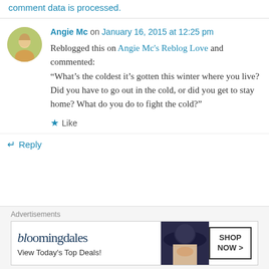comment data is processed.
Angie Mc on January 16, 2015 at 12:25 pm
Reblogged this on Angie Mc's Reblog Love and commented:
“What’s the coldest it’s gotten this winter where you live? Did you have to go out in the cold, or did you get to stay home? What do you do to fight the cold?”
Like
Reply
Advertisements
[Figure (illustration): Bloomingdales advertisement banner showing logo, 'View Today's Top Deals!' text, a woman in a wide-brim hat, and a 'SHOP NOW >' button]